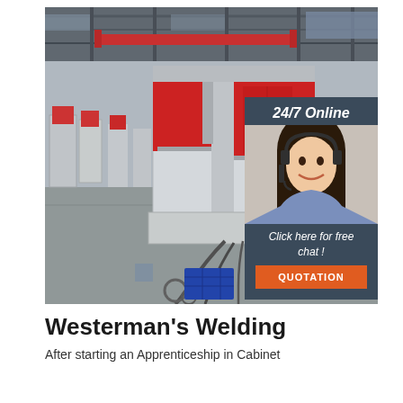[Figure (photo): Industrial factory floor with CNC/welding machines in red and gray colors, large workshop with steel structure roof, blue motor visible in foreground. Overlaid chat widget showing '24/7 Online' with a customer service woman wearing headset, 'Click here for free chat!' text, and an orange QUOTATION button.]
Westerman's Welding
After starting an Apprenticeship in Cabinet